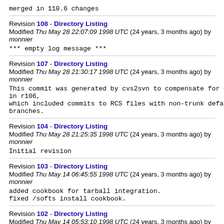merged in 110.6 changes
Revision 108 - Directory Listing
Modified Thu May 28 22:07:09 1998 UTC (24 years, 3 months ago) by monnier
*** empty log message ***
Revision 107 - Directory Listing
Modified Thu May 28 21:30:17 1998 UTC (24 years, 3 months ago) by monnier
This commit was generated by cvs2svn to compensate for changes in r106,
which included commits to RCS files with non-trunk default branches.
Revision 104 - Directory Listing
Modified Thu May 28 21:25:35 1998 UTC (24 years, 3 months ago) by monnier
Initial revision
Revision 103 - Directory Listing
Modified Thu May 14 06:45:55 1998 UTC (24 years, 3 months ago) by monnier
added cookbook for tarball integration.
fixed /softs install cookbook.
Revision 102 - Directory Listing
Modified Thu May 14 05:53:10 1998 UTC (24 years, 3 months ago) by monnier
merged in 110.5.1 from Zhong
Revision 101 - Directory Listing
Modified Thu May 14 04:56:46 1998 UTC (24 years, 3 months ago) by monnier
This commit was generated by cvs2svn to compensate for changes